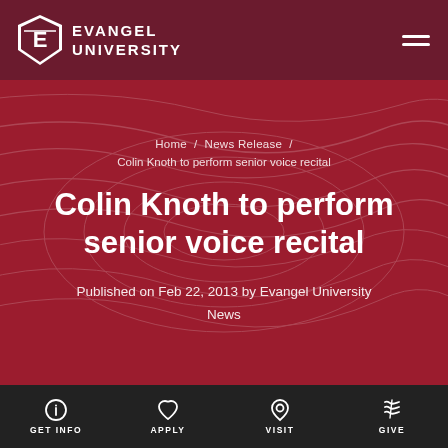Evangel University
Home / News Release / Colin Knoth to perform senior voice recital
Colin Knoth to perform senior voice recital
Published on Feb 22, 2013 by Evangel University News
GET INFO  APPLY  VISIT  GIVE